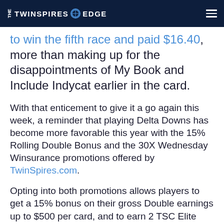THE TWINSPIRES EDGE
to win the fifth race and paid $16.40, more than making up for the disappointments of My Book and Include Indycat earlier in the card.
With that enticement to give it a go again this week, a reminder that playing Delta Downs has become more favorable this year with the 15% Rolling Double Bonus and the 30X Wednesday Winsurance promotions offered by TwinSpires.com.
Opting into both promotions allows players to get a 15% bonus on their gross Double earnings up to $500 per card, and to earn 2 TSC Elite